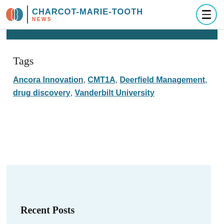CHARCOT-MARIE-TOOTH NEWS
Tags
Ancora Innovation, CMT1A, Deerfield Management, drug discovery, Vanderbilt University
Recent Posts